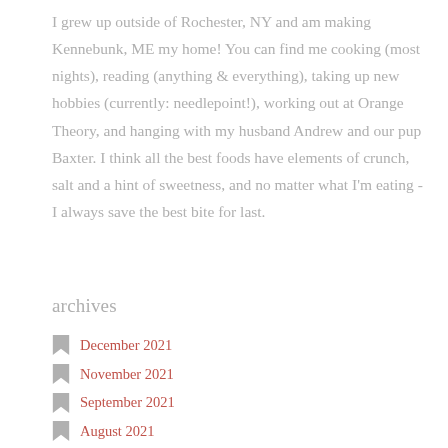I grew up outside of Rochester, NY and am making Kennebunk, ME my home! You can find me cooking (most nights), reading (anything & everything), taking up new hobbies (currently: needlepoint!), working out at Orange Theory, and hanging with my husband Andrew and our pup Baxter. I think all the best foods have elements of crunch, salt and a hint of sweetness, and no matter what I'm eating - I always save the best bite for last.
View Full Profile →
archives
December 2021
November 2021
September 2021
August 2021
July 2021